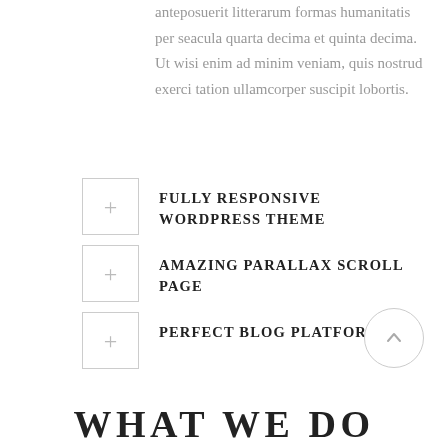anteposuerit litterarum formas humanitatis per seacula quarta decima et quinta decima. Ut wisi enim ad minim veniam, quis nostrud exerci tation ullamcorper suscipit lobortis.
FULLY RESPONSIVE WORDPRESS THEME
AMAZING PARALLAX SCROLL PAGE
PERFECT BLOG PLATFORM
WHAT WE DO